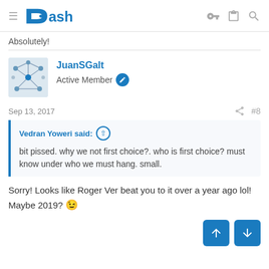Dash
Absolutely!
JuanSGalt
Active Member
Sep 13, 2017  #8
Vedran Yoweri said: ↑

bit pissed. why we not first choice?. who is first choice? must know under who we must hang. small.
Sorry! Looks like Roger Ver beat you to it over a year ago lol! Maybe 2019? 😉